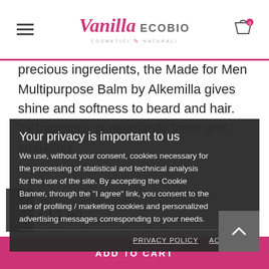[Figure (screenshot): Vanilla ECOBIO cosmetics website header with logo, hamburger menu, and cart icon]
precious ingredients, the Made for Men Multipurpose Balm by Alkemilla gives shine and softness to beard and hair. Its fragrance is pleasantly fresh and sparkling.
Your privacy is important to us
We use, without your consent, cookies necessary for the processing of statistical and technical analysis for the use of the site. By accepting the Cookie Banner, through the "I agree" link, you consent to the use of profiling / marketing cookies and personalized advertising messages corresponding to your needs.
Alkemilla's Made for Men Multipurpose Balm is a delicate and absolutely non-aggressive product on the beard (and therefore on the skin of the face) and scalp. It can therefore be used every day and is suitable for all skin, beard and hair and hair types. Effectively transmitting messages
Hair and beard balm made…
€13.90
PRIVACY POLICY
ACCEPT ✓
ADD TO CART
products, all characterized by elegant packaging